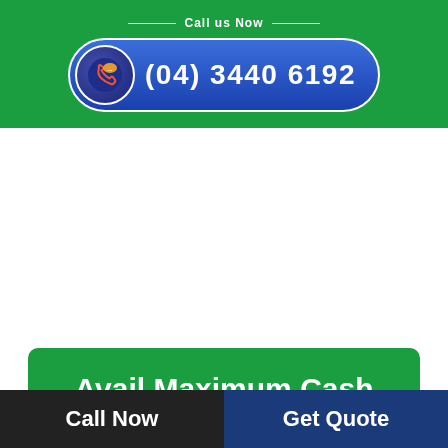Call us Now (04) 3440 6192
Avail Maximum Cash For Cars Broadbeach
Fill in the necessary details to get a free quote today. Once you fill it, our team will get back to you
Call Now | Get Quote